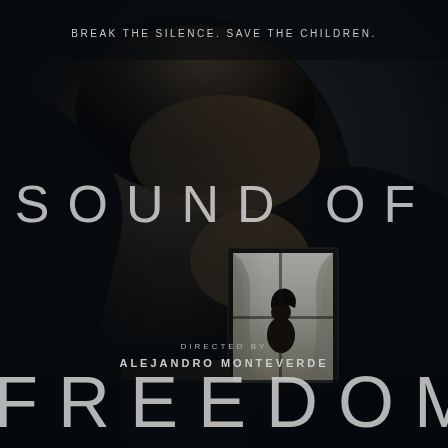[Figure (photo): Movie poster for 'Sound of Freedom' featuring a dramatic black and white close-up profile of a man's face in shadow, with a window scene inset showing a silhouetted child figure. Dark, moody cinematic lighting.]
BREAK THE SILENCE. SAVE THE CHILDREN.
SOUND OF FREEDOM
DIRECTED BY ALEJANDRO MONTEVERDE
FREEDOM